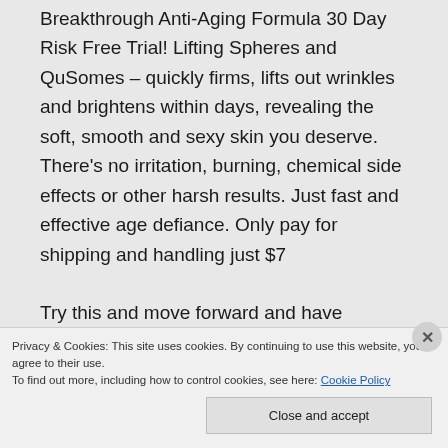Breakthrough Anti-Aging Formula 30 Day Risk Free Trial! Lifting Spheres and QuSomes – quickly firms, lifts out wrinkles and brightens within days, revealing the soft, smooth and sexy skin you deserve. There's no irritation, burning, chemical side effects or other harsh results. Just fast and effective age defiance. Only pay for shipping and handling just $7

Try this and move forward and have guaranteed results
Privacy & Cookies: This site uses cookies. By continuing to use this website, you agree to their use.
To find out more, including how to control cookies, see here: Cookie Policy
Close and accept